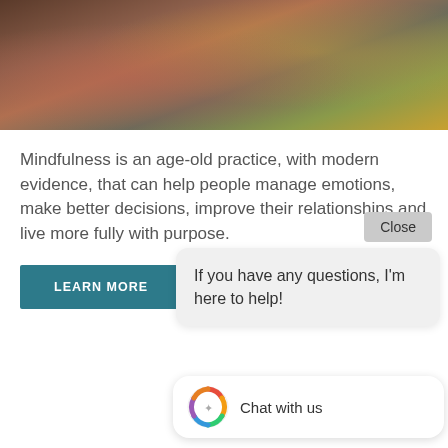[Figure (photo): Photo of a person in a red/maroon top, partially visible, with blurred background including yellow-green foliage]
Mindfulness is an age-old practice, with modern evidence, that can help people manage emotions, make better decisions, improve their relationships and live more fully with purpose.
Close
LEARN MORE
If you have any questions, I'm here to help!
[Figure (photo): Photo of a man with glasses and beard in an office or clinical setting]
NEUROPSYCHOLOGICAL ASSESSMENTS FOR ADULTS
Chat with us